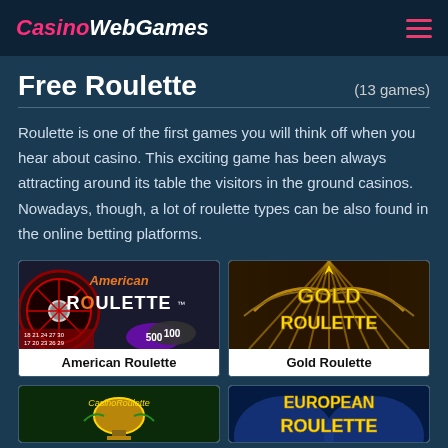CasinoWebGames
Free Roulette (13 games)
Roulette is one of the first games you will think off when you hear about casino. This exciting game has been always attracting around its table the visitors in the ground casinos. Nowadays, though, a lot of roulette types can be also found in the online betting platforms.
[Figure (screenshot): American Roulette game thumbnail showing a roulette wheel and chips]
American Roulette
[Figure (screenshot): Gold Roulette game thumbnail with ornate gold logo]
Gold Roulette
[Figure (screenshot): Casino Roulette game thumbnail with golden trophy]
[Figure (screenshot): European Roulette game thumbnail with blue flame background]